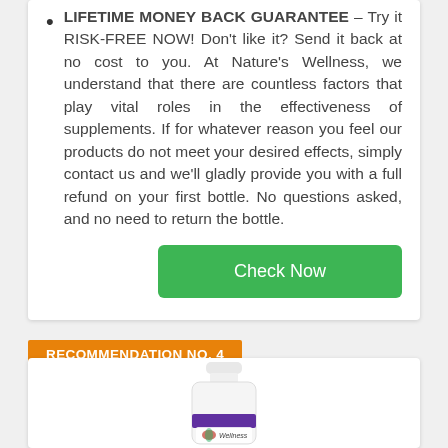LIFETIME MONEY BACK GUARANTEE – Try it RISK-FREE NOW! Don't like it? Send it back at no cost to you. At Nature's Wellness, we understand that there are countless factors that play vital roles in the effectiveness of supplements. If for whatever reason you feel our products do not meet your desired effects, simply contact us and we'll gladly provide you with a full refund on your first bottle. No questions asked, and no need to return the bottle.
Check Now
RECOMMENDATION NO. 4
[Figure (photo): Supplement bottle for Nature's Wellness product, white bottle with purple label]